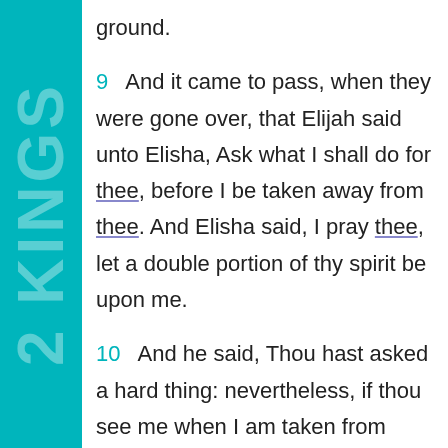ground.
9   And it came to pass, when they were gone over, that Elijah said unto Elisha, Ask what I shall do for thee, before I be taken away from thee. And Elisha said, I pray thee, let a double portion of thy spirit be upon me.
10   And he said, Thou hast asked a hard thing: nevertheless, if thou see me when I am taken from thee, it shall be so unto thee; but if not, it shall not be so.
11   And it came to pass, as they still went on, and talked, that, behold, there